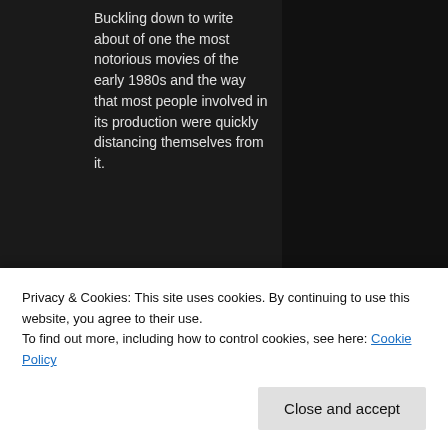Buckling down to write about of one the most notorious movies of the early 1980s and the way that most people involved in its production were quickly distancing themselves from it.
No, not Caligula.
14   15
[Figure (screenshot): Twitter/social media embed showing user 'The Repr...' with avatar image, Twitter bird icon, handle @, Aug 20]
Privacy & Cookies: This site uses cookies. By continuing to use this website, you agree to their use.
To find out more, including how to control cookies, see here: Cookie Policy
Close and accept